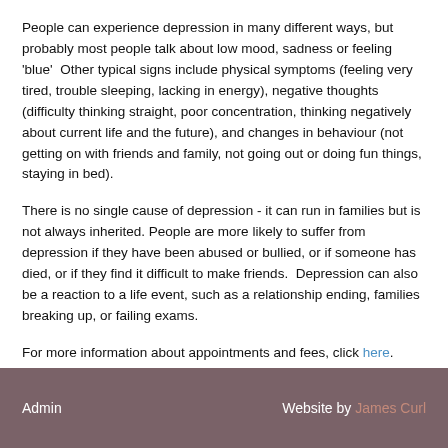People can experience depression in many different ways, but probably most people talk about low mood, sadness or feeling 'blue'  Other typical signs include physical symptoms (feeling very tired, trouble sleeping, lacking in energy), negative thoughts (difficulty thinking straight, poor concentration, thinking negatively about current life and the future), and changes in behaviour (not getting on with friends and family, not going out or doing fun things, staying in bed).
There is no single cause of depression - it can run in families but is not always inherited. People are more likely to suffer from depression if they have been abused or bullied, or if someone has died, or if they find it difficult to make friends.  Depression can also be a reaction to a life event, such as a relationship ending, families breaking up, or failing exams.
For more information about appointments and fees, click here.
Admin   Website by James Curl